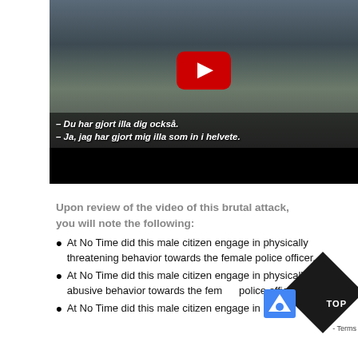[Figure (screenshot): YouTube video thumbnail showing people on the ground with subtitle text in Swedish: '- Du har gjort illa dig också. - Ja, jag har gjort mig illa som in i helvete.']
Upon review of the video of this brutal attack, you will note the following:
At No Time did this male citizen engage in physically threatening behavior towards the female police officer.
At No Time did this male citizen engage in physically abusive behavior towards the female police officer.
At No Time did this male citizen engage in